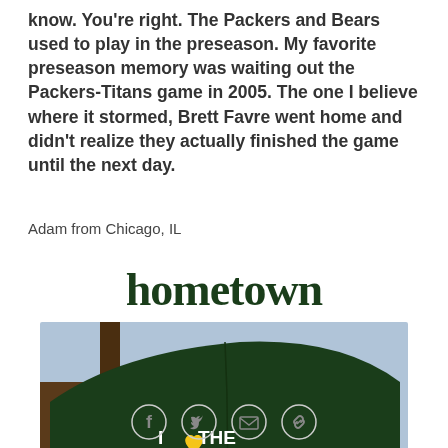know. You're right. The Packers and Bears used to play in the preseason. My favorite preseason memory was waiting out the Packers-Titans game in 2005. The one I believe where it stormed, Brett Favre went home and didn't realize they actually finished the game until the next day.
Adam from Chicago, IL
hometown
[Figure (photo): Person wearing a dark green baseball cap that reads 'I [heart] THE PACK' with a yellow heart icon, viewed from behind/side angle]
[Figure (other): Social sharing icons: Facebook, Twitter, Email, Link]